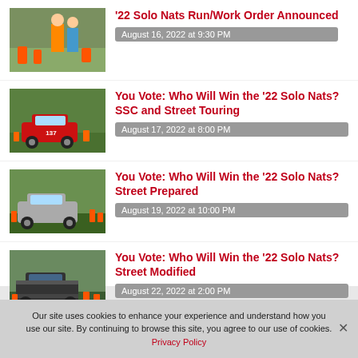'22 Solo Nats Run/Work Order Announced
August 16, 2022 at 9:30 PM
You Vote: Who Will Win the '22 Solo Nats? SSC and Street Touring
August 17, 2022 at 8:00 PM
You Vote: Who Will Win the '22 Solo Nats? Street Prepared
August 19, 2022 at 10:00 PM
You Vote: Who Will Win the '22 Solo Nats? Street Modified
August 22, 2022 at 2:00 PM
Our site uses cookies to enhance your experience and understand how you use our site. By continuing to browse this site, you agree to our use of cookies. Privacy Policy